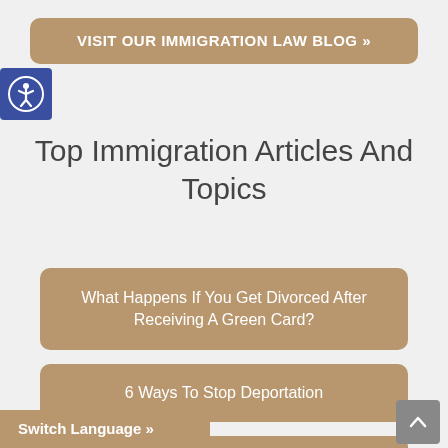VISIT OUR IMMIGRATION LAW BLOG »
[Figure (logo): Accessibility icon — human figure in circle on blue background]
Top Immigration Articles And Topics
What Happens If You Get Divorced After Receiving A Green Card?
6 Ways To Stop Deportation
10 Things You Should Know About Becoming A Naturalized Citizen
Switch Language »